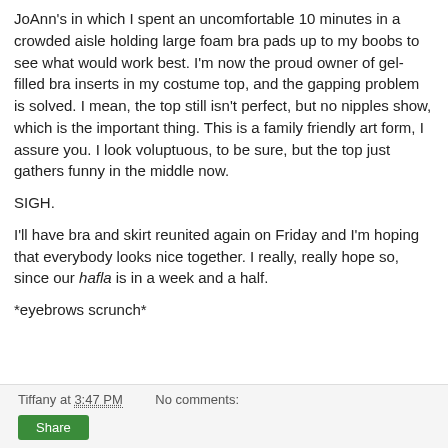JoAnn's in which I spent an uncomfortable 10 minutes in a crowded aisle holding large foam bra pads up to my boobs to see what would work best. I'm now the proud owner of gel-filled bra inserts in my costume top, and the gapping problem is solved. I mean, the top still isn't perfect, but no nipples show, which is the important thing. This is a family friendly art form, I assure you. I look voluptuous, to be sure, but the top just gathers funny in the middle now.
SIGH.
I'll have bra and skirt reunited again on Friday and I'm hoping that everybody looks nice together. I really, really hope so, since our hafla is in a week and a half.
*eyebrows scrunch*
Tiffany at 3:47 PM   No comments:   Share